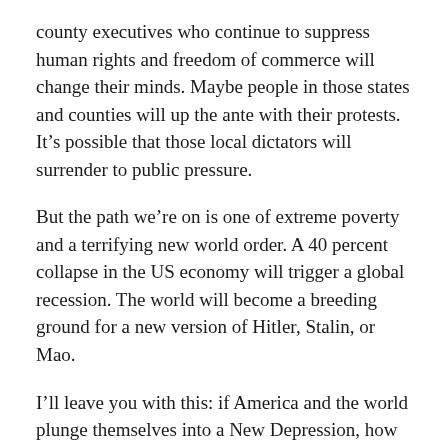county executives who continue to suppress human rights and freedom of commerce will change their minds. Maybe people in those states and counties will up the ante with their protests. It's possible that those local dictators will surrender to public pressure.
But the path we're on is one of extreme poverty and a terrifying new world order. A 40 percent collapse in the US economy will trigger a global recession. The world will become a breeding ground for a new version of Hitler, Stalin, or Mao.
I'll leave you with this: if America and the world plunge themselves into a New Depression, how will you respond?
For my part, I'll grab a Rosary and pray that I live well in God's eyes even if I die in undignified poverty in the